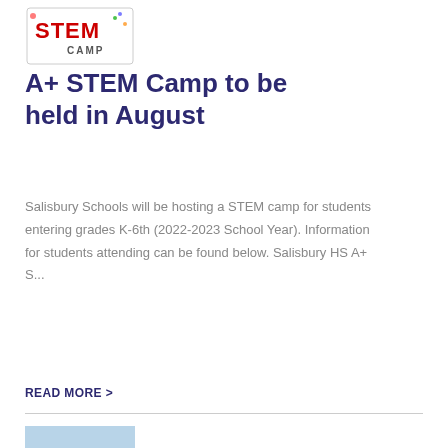[Figure (logo): STEM Camp logo with red STEM text and colorful camp graphic]
A+ STEM Camp to be held in August
Salisbury Schools will be hosting a STEM camp for students entering grades K-6th (2022-2023 School Year). Information for students attending can be found below. Salisbury HS A+ S...
READ MORE >
[Figure (photo): Group photo of baseball team in purple uniforms on a baseball field]
Baseball Team Claims